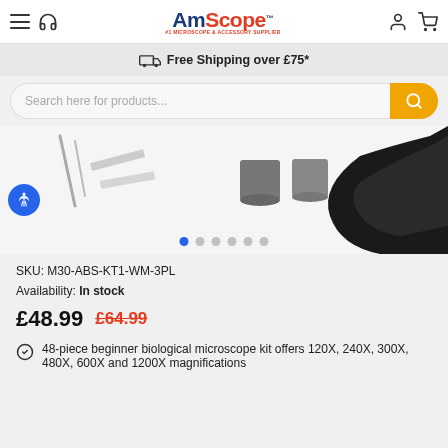[Figure (logo): AmScope logo with tagline '#1 Microscope & Accessory Supplier']
Free Shipping over £75*
Search here for products...
[Figure (photo): Product image of microscope kit accessories including slides, tools, and a microscope arm piece]
SKU: M30-ABS-KT1-WM-3PL
Availability: In stock
£48.99  £64.99
48-piece beginner biological microscope kit offers 120X, 240X, 300X, 480X, 600X and 1200X magnifications